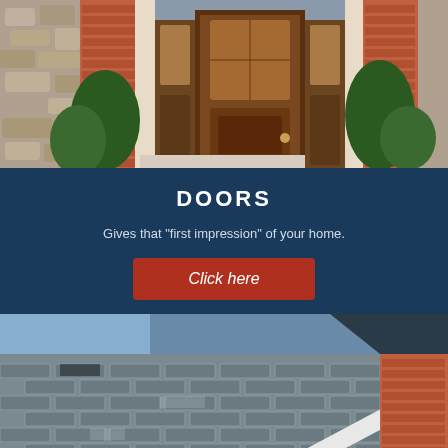[Figure (photo): Front entrance of a home with a dark wooden door with decorative glass panels, flanked by sidelights, stone and brick facade, evergreen shrubs]
DOORS
Gives that "first impression" of your home.
Click here
[Figure (photo): Close-up of a gray asphalt shingle roof with white gutters and brick chimney/wall in background]